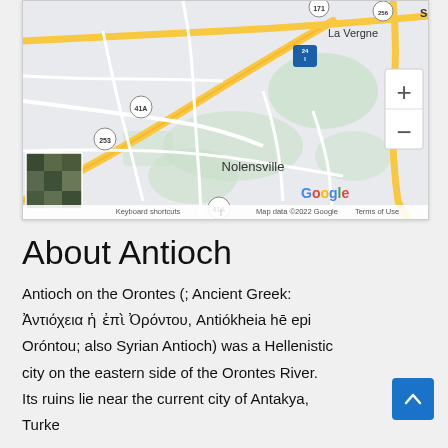[Figure (map): Google Maps screenshot showing Nolensville, La Vergne area with road network, highway 24, routes 41A, 253, 171, zoom controls (+/-), satellite thumbnail, Google logo, and map footer with keyboard shortcuts and copyright info]
About Antioch
Antioch on the Orontes (; Ancient Greek: Ἀντιόχεια ἡ ἐπὶ Ὀρόντου, Antiókheia hē epi Oróntou; also Syrian Antioch) was a Hellenistic city on the eastern side of the Orontes River. Its ruins lie near the current city of Antakya, Turkey, which the ancient city had its...